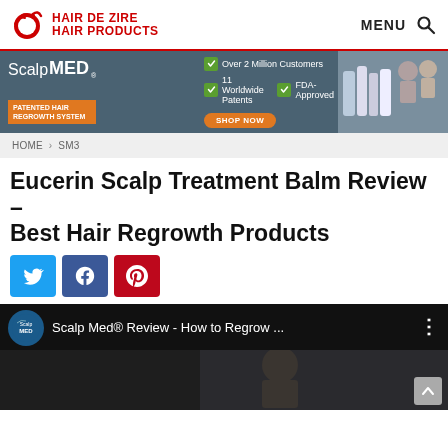HAIR DE ZIRE HAIR PRODUCTS | MENU
[Figure (infographic): ScalpMED advertisement banner: PATENTED HAIR REGROWTH SYSTEM. Over 2 Million Customers. 11 Worldwide Patents. FDA-Approved. SHOP NOW button. Product photos on right.]
HOME > SM3
Eucerin Scalp Treatment Balm Review – Best Hair Regrowth Products
[Figure (infographic): Social sharing buttons: Twitter (blue), Facebook (dark blue), Pinterest (red)]
[Figure (screenshot): YouTube video embed: Scalp Med® Review - How to Regrow ... with ScalpMED logo circle avatar, three-dot menu. Video thumbnail shows a person outdoors. Back-to-top arrow button bottom right.]